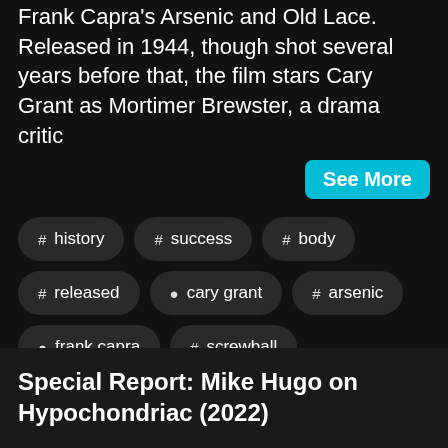We're wrapping up Screwball month with a look at Frank Capra's Arsenic and Old Lace. Released in 1944, though shot several years before that, the film stars Cary Grant as Mortimer Brewster, a drama critic
See More
# history
# success
# body
# released
person cary grant
# arsenic
person frank capra
# screwball
# old lace
# window seat
person sylvia hubbard
# kat ellinger
Special Report: Mike Hugo on Hypochondriac (2022)